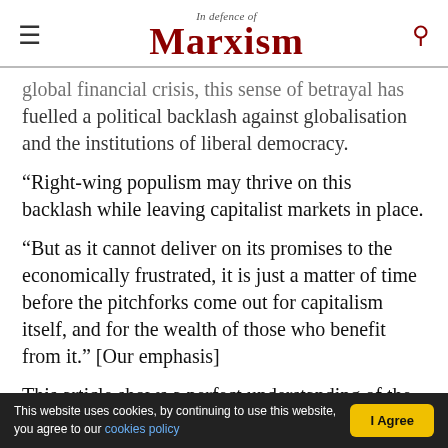In Defence of Marxism
global financial crisis, this sense of betrayal has fuelled a political backlash against globalisation and the institutions of liberal democracy.
“Right-wing populism may thrive on this backlash while leaving capitalist markets in place.
“But as it cannot deliver on its promises to the economically frustrated, it is just a matter of time before the pitchforks come out for capitalism itself, and for the wealth of those who benefit from it.” [Our emphasis]
This article shows a perfect understanding of the
This website uses cookies, by continuing to use this website, you agree to our cookies policy  |  I Agree